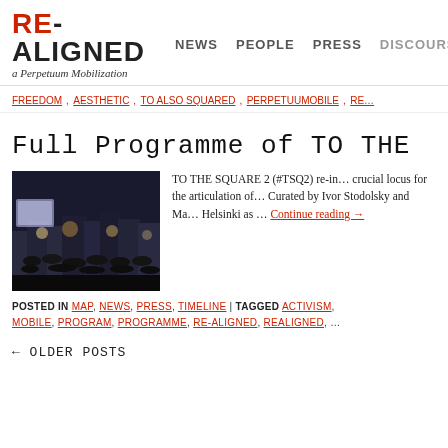RE-ALIGNED a Perpetuum Mobilization | NEWS  PEOPLE  PRESS  DISCOURS
FREEDOM, AESTHETIC, TO ALSO SQUARED, PERPETUUMOBILE, RE…
Full Programme of TO THE…
[Figure (photo): Night outdoor crowd watching a large screen projection, city buildings in background with lights]
TO THE SQUARE 2 (#TSQ2) re-in… crucial locus for the articulation of… Curated by Ivor Stodolsky and Ma… Helsinki as … Continue reading →
POSTED IN MAP, NEWS, PRESS, TIMELINE | TAGGED ACTIVISM, MOBILE, PROGRAM, PROGRAMME, RE-ALIGNED, REALIGNED,…
← OLDER POSTS